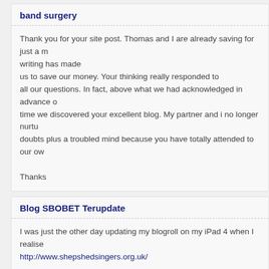band surgery
Thank you for your site post. Thomas and I are already saving for just a m writing has made us to save our money. Your thinking really responded to all our questions. In fact, above what we had acknowledged in advance o time we discovered your excellent blog. My partner and i no longer nurtu doubts plus a troubled mind because you have totally attended to our ow

Thanks
Blog SBOBET Terupdate
I was just the other day updating my blogroll on my iPad 4 when I realise http://www.shepshedsingers.org.uk/
Login joker123
I was just the other day updating my blogroll on my iPad 4 when I realise
idnplayqq